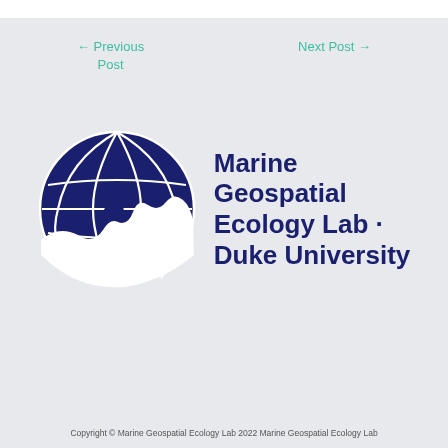← Previous Post
Next Post →
[Figure (logo): Marine Geospatial Ecology Lab Duke University logo: a dark navy globe with grid lines and a wave/whale silhouette at the bottom, next to bold navy text reading 'Marine Geospatial Ecology Lab · Duke University']
Copyright © Marine Geospatial Ecology Lab 2022 Marine Geospatial Ecology Lab